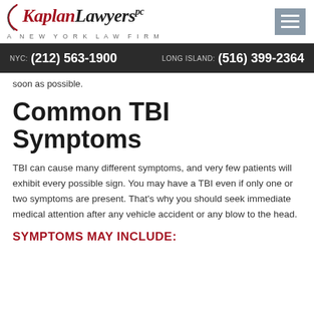KaplanLawyers pc — A NEW YORK LAW FIRM | NYC: (212) 563-1900 | LONG ISLAND: (516) 399-2364
soon as possible.
Common TBI Symptoms
TBI can cause many different symptoms, and very few patients will exhibit every possible sign. You may have a TBI even if only one or two symptoms are present. That's why you should seek immediate medical attention after any vehicle accident or any blow to the head.
SYMPTOMS MAY INCLUDE: